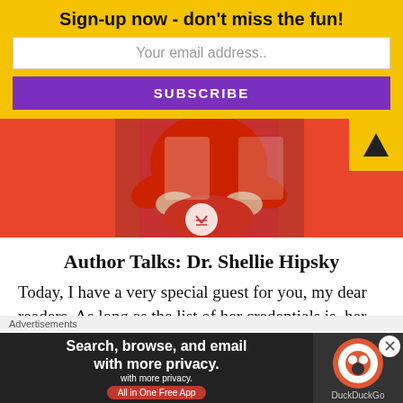Sign-up now - don't miss the fun!
Your email address..
SUBSCRIBE
[Figure (photo): Person in red top with hands on hips, shown from mid-torso, against a red background with partial text visible]
Author Talks: Dr. Shellie Hipsky
Today, I have a very special guest for you, my dear readers. As long as the list of her credentials is, her
Advertisements
[Figure (infographic): DuckDuckGo advertisement banner: Search, browse, and email with more privacy. All in One Free App]